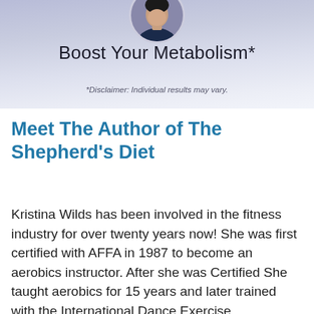[Figure (photo): Circular portrait photo of a person (partially visible at top), set against a blue-grey gradient banner background]
Boost Your Metabolism*
*Disclaimer: Individual results may vary.
Meet The Author of The Shepherd's Diet
Kristina Wilds has been involved in the fitness industry for over twenty years now!  She was first certified with AFFA in 1987 to become an aerobics instructor.  After she was Certified She taught aerobics for 15 years and later trained with the International Dance Exercise